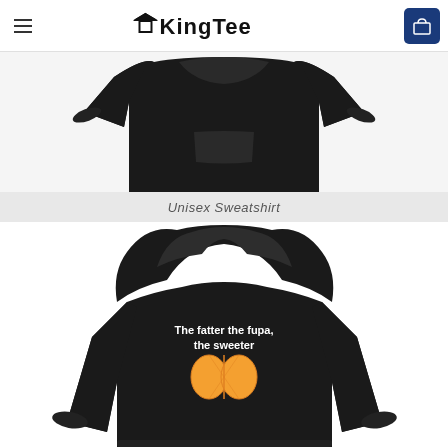KingTee
[Figure (photo): Black unisex sweatshirt product photo shown from front, displayed against a light grey background]
Unisex Sweatshirt
[Figure (photo): Black hoodie with graphic print reading 'The fatter the fupa, the sweeter' with an orange fruit image below the text]